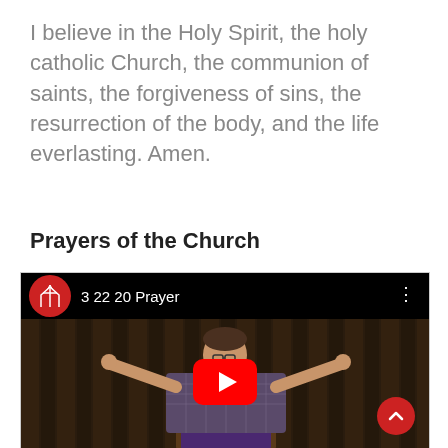I believe in the Holy Spirit, the holy catholic Church, the communion of saints, the forgiveness of sins, the resurrection of the body, and the life everlasting. Amen.
Prayers of the Church
[Figure (screenshot): YouTube video thumbnail showing a man with arms raised at a church podium, with a red YouTube play button overlay. The video title bar shows '3 22 20 Prayer' with a red church logo icon.]